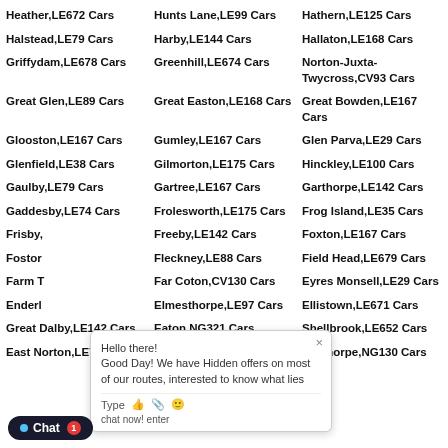Heather,LE672 Cars
Hunts Lane,LE99 Cars
Hathern,LE125 Cars
Halstead,LE79 Cars
Harby,LE144 Cars
Hallaton,LE168 Cars
Griffydam,LE678 Cars
Greenhill,LE674 Cars
Norton-Juxta-Twycross,CV93 Cars
Great Glen,LE89 Cars
Great Easton,LE168 Cars
Great Bowden,LE167 Cars
Glooston,LE167 Cars
Gumley,LE167 Cars
Glen Parva,LE29 Cars
Glenfield,LE38 Cars
Gilmorton,LE175 Cars
Hinckley,LE100 Cars
Gaulby,LE79 Cars
Gartree,LE167 Cars
Garthorpe,LE142 Cars
Gaddesby,LE74 Cars
Frolesworth,LE175 Cars
Frog Island,LE35 Cars
Frisby,...
Freeby,LE142 Cars
Foxton,LE167 Cars
Foston,...
Fleckney,LE88 Cars
Field Head,LE679 Cars
Farm T...s
Far Coton,CV130 Cars
Eyres Monsell,LE29 Cars
Enderl...
Elmesthorpe,LE97 Cars
Ellistown,LE671 Cars
Great Dalby,LE142 Cars
Eaton,NG321 Cars
Shellbrook,LE652 Cars
East Norton,LE79 Cars
East Langton,LE167...
Easthorpe,NG130 Cars